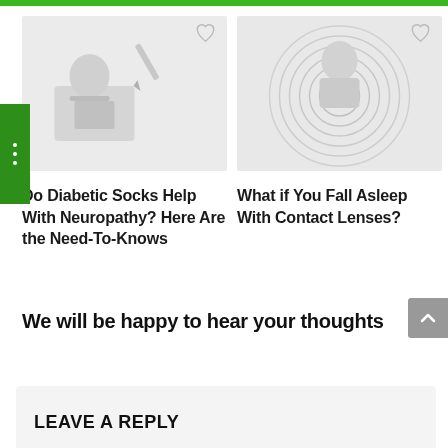[Figure (photo): Article thumbnail: person wearing diabetic socks, medical illustration]
[Figure (photo): Article thumbnail: person with contact lenses, circular pattern illustration]
Do Diabetic Socks Help With Neuropathy? Here Are the Need-To-Knows
What if You Fall Asleep With Contact Lenses?
We will be happy to hear your thoughts
LEAVE A REPLY